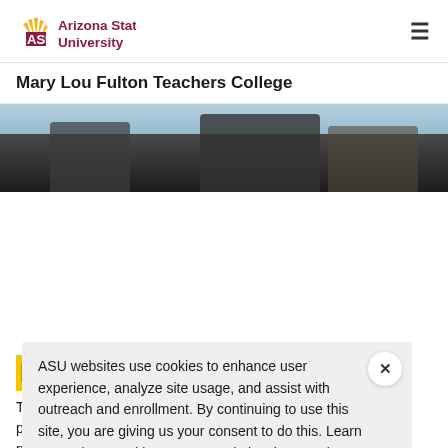ASU Arizona State University
Mary Lou Fulton Teachers College
[Figure (photo): Partial hero image showing people in graduation gowns against a light blue and dark background]
ASU websites use cookies to enhance user experience, analyze site usage, and assist with outreach and enrollment. By continuing to use this site, you are giving us your consent to do this. Learn more about cookies on ASU websites in our Privacy Statement.
Ok, I agree
Pr
The [text partially obscured by cookie banner] policy [text partially obscured] need [text partially obscured] policy [text partially obscured] making. Students analyze data from applied settings, including their own schools or organizations.